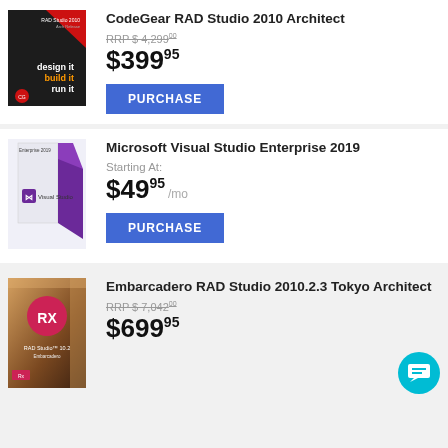[Figure (illustration): CodeGear RAD Studio 2010 Architect product box. Dark box with red triangle top-right, text 'design it', 'build it' (orange), 'run it']
CodeGear RAD Studio 2010 Architect
RRP $ 4,29900 (strikethrough)
$39995
PURCHASE
[Figure (illustration): Microsoft Visual Studio Enterprise 2019 product box, purple/white angular design with Visual Studio logo]
Microsoft Visual Studio Enterprise 2019
Starting At:
$4995 /mo
PURCHASE
[Figure (illustration): Embarcadero RAD Studio 10.2 Tokyo Architect product box. Brown/gold box with RX badge in pink circle]
Embarcadero RAD Studio 2010.2.3 Tokyo Architect
RRP $ 7,04200 (strikethrough)
$69995